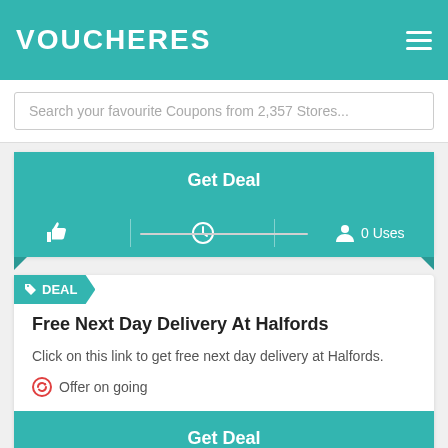VOUCHERES
Search your favourite Coupons from 2,357 Stores...
[Figure (screenshot): Get Deal button (teal) with thumbs up, clock, and 0 Uses icons below on teal bar]
[Figure (screenshot): DEAL badge arrow shape in teal]
Free Next Day Delivery At Halfords
Click on this link to get free next day delivery at Halfords.
Offer on going
[Figure (screenshot): Get Deal button teal]